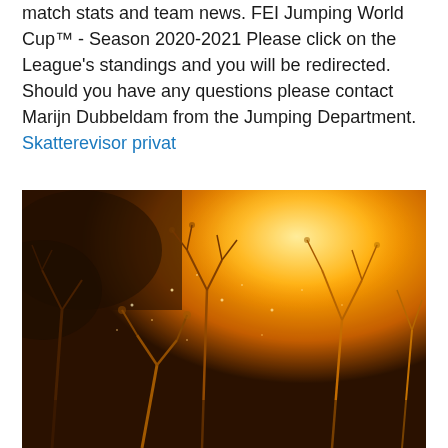match stats and team news. FEI Jumping World Cup™ - Season 2020-2021 Please click on the League's standings and you will be redirected. Should you have any questions please contact Marijn Dubbeldam from the Jumping Department.
Skatterevisor privat
[Figure (photo): Warm golden-lit nature photograph showing wild plants and grasses backlit by a bright warm orange-yellow light source, with bokeh in the background.]